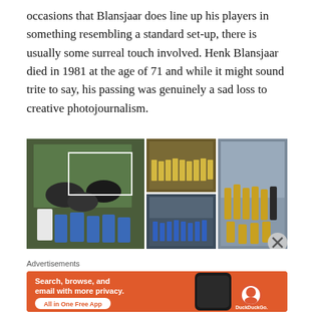occasions that Blansjaar does line up his players in something resembling a standard set-up, there is usually some surreal touch involved. Henk Blansjaar died in 1981 at the age of 71 and while it might sound trite to say, his passing was genuinely a sad loss to creative photojournalism.
[Figure (photo): Collage of four vintage football/soccer team photographs. Left: players in blue kits posing on horseback on a field. Top center: team photo indoors in yellow kits. Bottom center: team photo outdoors in blue kits at a stadium. Right: team photo indoors in yellow kits in a locker room.]
Advertisements
[Figure (screenshot): DuckDuckGo advertisement banner with orange background. Text reads: Search, browse, and email with more privacy. All in One Free App. Shows a smartphone with DuckDuckGo app and logo.]